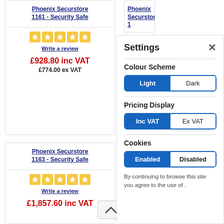Phoenix Securstore 1161 - Security Safe
Write a review
£928.80 inc VAT
£774.00 ex VAT
Phoenix Securstore 1163 - Security Safe
Write a review
£1,857.60 inc VAT
Phoenix Securstore 1
Settings
Colour Scheme
Light | Dark
Pricing Display
Inc VAT | Ex VAT
Cookies
Enabled | Disabled
By continuing to browse this site you agree to the use of .